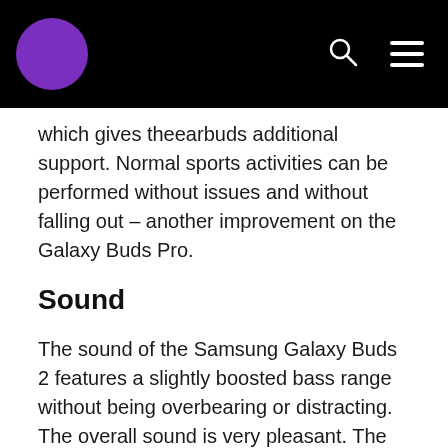[Navigation bar with purple circle logo, search icon, and hamburger menu]
which gives theearbuds additional support. Normal sports activities can be performed without issues and without falling out – another improvement on the Galaxy Buds Pro.
Sound
The sound of the Samsung Galaxy Buds 2 features a slightly boosted bass range without being overbearing or distracting. The overall sound is very pleasant. The bass can play powerful without booming or becoming messy. For better or worse, the bass is not as deep as with other earbuds on the market.
The trebles are clean and sound very impressive but tend to distort ever so slightly at maximum volume. In terms of sound, the Galaxy Buds 2 are exceptional for the price point